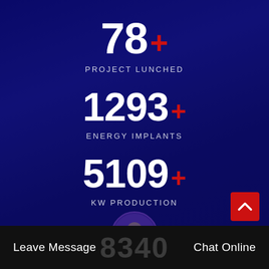78+
PROJECT LUNCHED
1293+
ENERGY IMPLANTS
5109+
KW PRODUCTION
Leave Message   8340   Chat Online